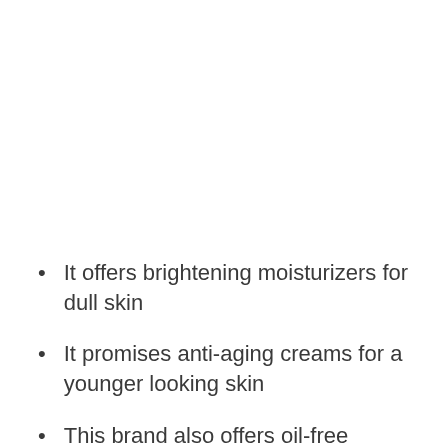It offers brightening moisturizers for dull skin
It promises anti-aging creams for a younger looking skin
This brand also offers oil-free